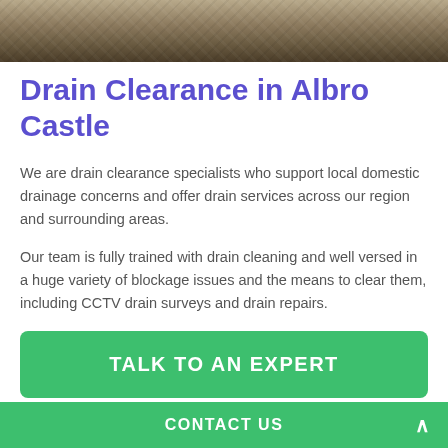[Figure (photo): Top portion of a close-up photo of a blocked drain or dirty surface with dark brown and beige textures]
Drain Clearance in Albro Castle
We are drain clearance specialists who support local domestic drainage concerns and offer drain services across our region and surrounding areas.
Our team is fully trained with drain cleaning and well versed in a huge variety of blockage issues and the means to clear them, including CCTV drain surveys and drain repairs.
TALK TO AN EXPERT
Blocked drains can be a real hassle and often seem to pop
CONTACT US